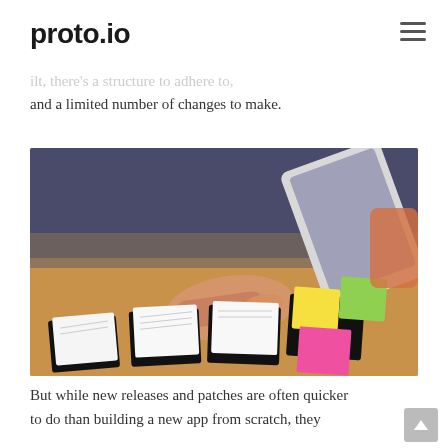proto.io
level of preparation as brand new apps. After all, there's a structure to adhere to, and a limited number of changes to make.
[Figure (photo): Person's hand pointing at paper card prototypes/wireframes on a wooden table, with a tablet being held in the background. Several paper cards with sticky notes (yellow, green, pink) arranged on the table.]
But while new releases and patches are often quicker to do than building a new app from scratch, they